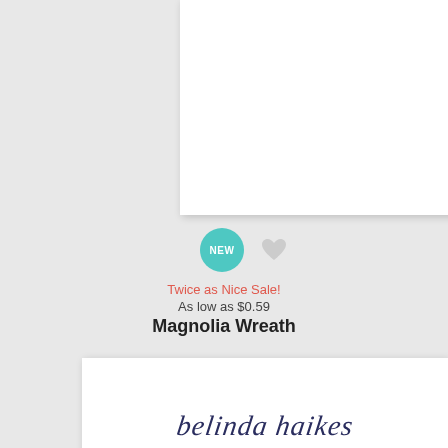[Figure (photo): White blank product card (top), showing empty white stationery card with shadow]
[Figure (illustration): NEW badge (teal circle) and heart icon (gray)]
Twice as Nice Sale!
As low as $0.59
Magnolia Wreath
[Figure (photo): White stationery card showing cursive name 'belinda haikes' in navy blue script]